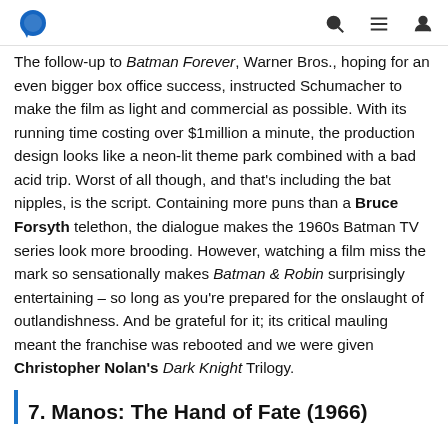[Logo] [Search icon] [Menu icon] [User icon]
The follow-up to Batman Forever, Warner Bros., hoping for an even bigger box office success, instructed Schumacher to make the film as light and commercial as possible. With its running time costing over $1million a minute, the production design looks like a neon-lit theme park combined with a bad acid trip. Worst of all though, and that's including the bat nipples, is the script. Containing more puns than a Bruce Forsyth telethon, the dialogue makes the 1960s Batman TV series look more brooding. However, watching a film miss the mark so sensationally makes Batman & Robin surprisingly entertaining – so long as you're prepared for the onslaught of outlandishness. And be grateful for it; its critical mauling meant the franchise was rebooted and we were given Christopher Nolan's Dark Knight Trilogy.
7. Manos: The Hand of Fate (1966)